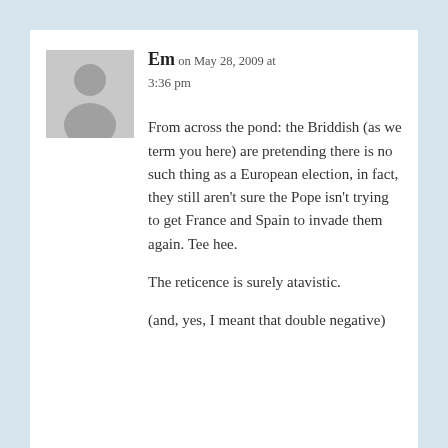[Figure (illustration): Grey avatar placeholder image of a person silhouette]
Em on May 28, 2009 at 3:36 pm
From across the pond: the Briddish (as we term you here) are pretending there is no such thing as a European election, in fact, they still aren't sure the Pope isn't trying to get France and Spain to invade them again. Tee hee.
The reticence is surely atavistic.
(and, yes, I meant that double negative)